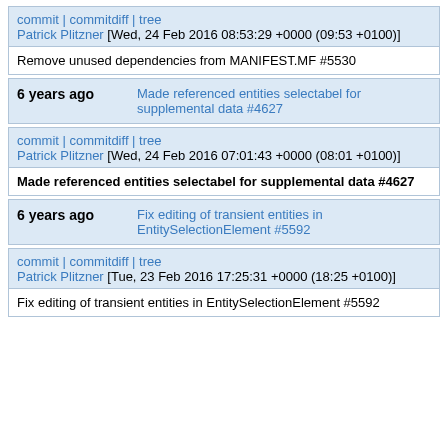commit | commitdiff | tree
Patrick Plitzner [Wed, 24 Feb 2016 08:53:29 +0000 (09:53 +0100)]
Remove unused dependencies from MANIFEST.MF #5530
6 years ago    Made referenced entities selectabel for supplemental data #4627
commit | commitdiff | tree
Patrick Plitzner [Wed, 24 Feb 2016 07:01:43 +0000 (08:01 +0100)]
Made referenced entities selectabel for supplemental data #4627
6 years ago    Fix editing of transient entities in EntitySelectionElement #5592
commit | commitdiff | tree
Patrick Plitzner [Tue, 23 Feb 2016 17:25:31 +0000 (18:25 +0100)]
Fix editing of transient entities in EntitySelectionElement #5592